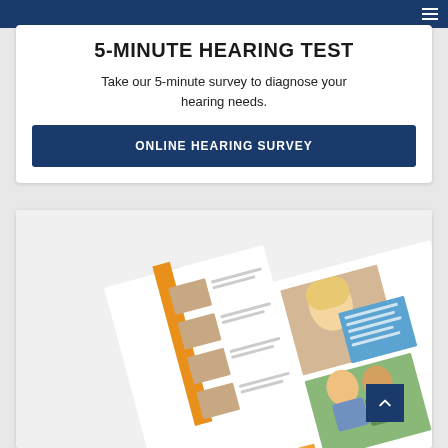Navigation bar with hamburger menu
5-MINUTE HEARING TEST
Take our 5-minute survey to diagnose your hearing needs.
ONLINE HEARING SURVEY
[Figure (photo): Open brochure/booklet about in-the-ear hearing aid styles, showing photos of ears with hearing aids and a photo of two people outdoors, with an orange cover underneath]